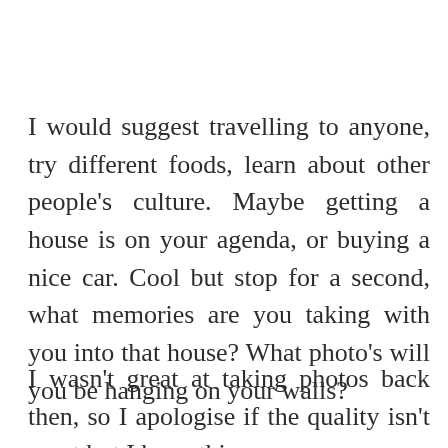I would suggest travelling to anyone, try different foods, learn about other people's culture. Maybe getting a house is on your agenda, or buying a nice car. Cool but stop for a second, what memories are you taking with you into that house? What photo's will you be hanging on your walls?
I wasn't great at taking photos back then, so I apologise if the quality isn't great but I hope this